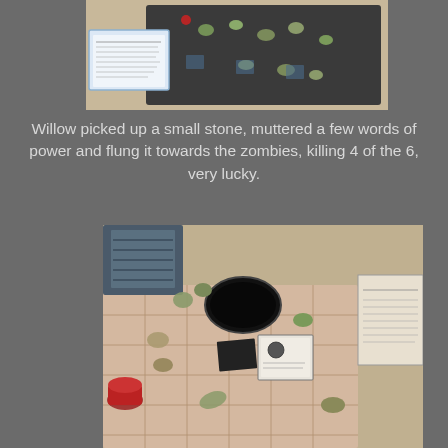[Figure (photo): Top-down view of a tabletop miniature game setup with zombie figures arranged on a dark game board, with a card/stat sheet visible on the left side.]
Willow picked up a small stone, muttered a few words of power and flung it towards the zombies, killing 4 of the 6, very lucky.
[Figure (photo): Top-down view of a tabletop miniature game with zombie and character figures on a tiled dungeon game board, with cards and a reference sheet visible.]